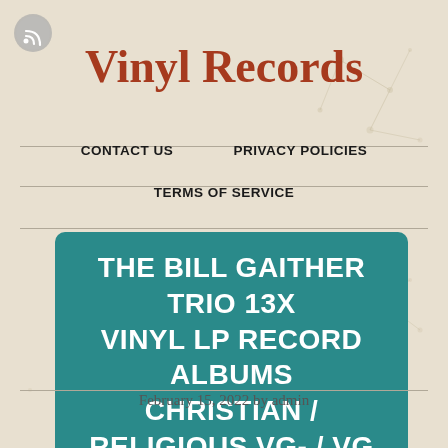[Figure (logo): RSS feed icon, circular gray button with wifi/signal symbol]
Vinyl Records
CONTACT US   PRIVACY POLICIES
TERMS OF SERVICE
THE BILL GAITHER TRIO 13X VINYL LP RECORD ALBUMS CHRISTIAN / RELIGIOUS VG- / VG
February 15, 2022 by admin